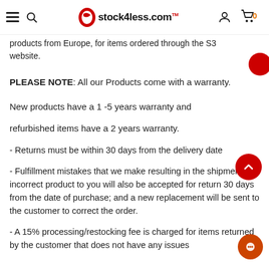stock4less.com
products from Europe, for items ordered through the S3 website.
PLEASE NOTE: All our Products come with a warranty.
New products have a 1-5 years warranty and
refurbished items have a 2 years warranty.
- Returns must be within 30 days from the delivery date
- Fulfillment mistakes that we make resulting in the shipment of incorrect product to you will also be accepted for return 30 days from the date of purchase; and a new replacement will be sent to the customer to correct the order.
- A 15% processing/restocking fee is charged for items returned by the customer that does not have any issues